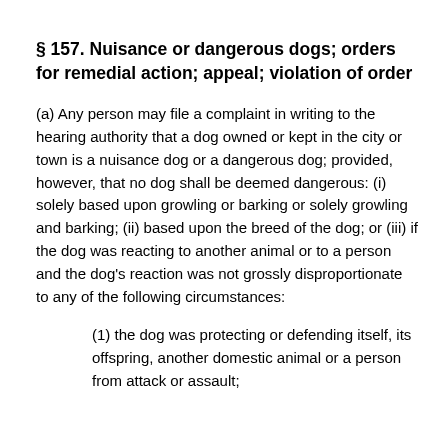§ 157. Nuisance or dangerous dogs; orders for remedial action; appeal; violation of order
(a) Any person may file a complaint in writing to the hearing authority that a dog owned or kept in the city or town is a nuisance dog or a dangerous dog; provided, however, that no dog shall be deemed dangerous: (i) solely based upon growling or barking or solely growling and barking; (ii) based upon the breed of the dog; or (iii) if the dog was reacting to another animal or to a person and the dog's reaction was not grossly disproportionate to any of the following circumstances:
(1) the dog was protecting or defending itself, its offspring, another domestic animal or a person from attack or assault;